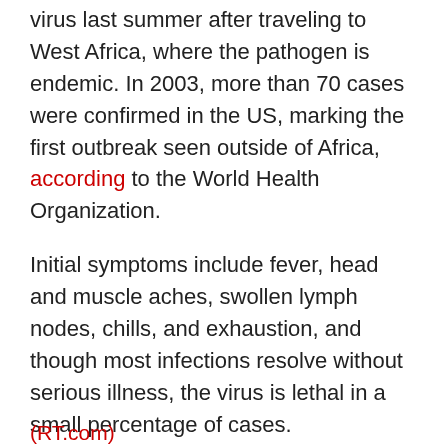virus last summer after traveling to West Africa, where the pathogen is endemic. In 2003, more than 70 cases were confirmed in the US, marking the first outbreak seen outside of Africa, according to the World Health Organization.
Initial symptoms include fever, head and muscle aches, swollen lymph nodes, chills, and exhaustion, and though most infections resolve without serious illness, the virus is lethal in a small percentage of cases.
(RT.com)